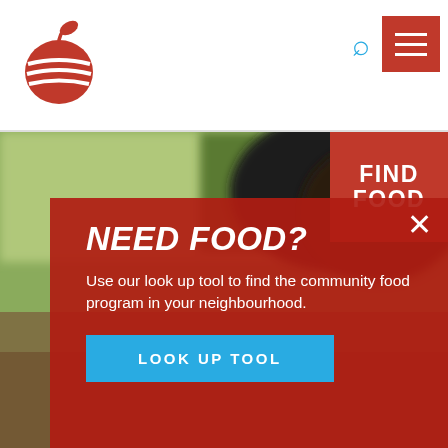[Figure (logo): Red apple logo with horizontal white stripes in the header top-left]
[Figure (screenshot): Navigation header with search icon and red hamburger menu button]
[Figure (photo): Blurred outdoor background photo showing person with dark hair and green foliage]
FIND FOOD
NEED FOOD?
Use our look up tool to find the community food program in your neighbourhood.
LOOK UP TOOL